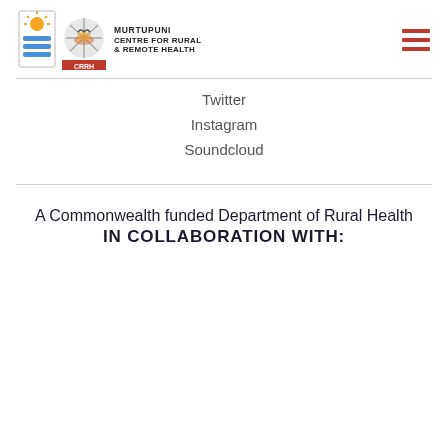[Figure (logo): JCU and Murtupuni Centre for Rural & Remote Health logos on the left, hamburger menu icon on the right]
Twitter
Instagram
Soundcloud
A Commonwealth funded Department of Rural Health IN COLLABORATION WITH: